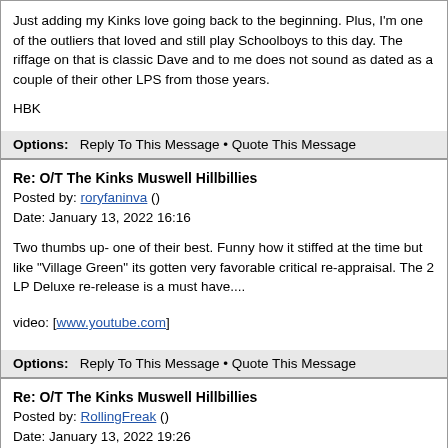Just adding my Kinks love going back to the beginning. Plus, I'm one of the outliers that loved and still play Schoolboys to this day. The riffage on that is classic Dave and to me does not sound as dated as a couple of their other LPS from those years.

HBK
Options:  Reply To This Message • Quote This Message
Re: O/T The Kinks Muswell Hillbillies
Posted by: roryfaninva ()
Date: January 13, 2022 16:16
Two thumbs up- one of their best. Funny how it stiffed at the time but like "Village Green" its gotten very favorable critical re-appraisal. The 2 LP Deluxe re-release is a must have....
video: [www.youtube.com]
Options:  Reply To This Message • Quote This Message
Re: O/T The Kinks Muswell Hillbillies
Posted by: RollingFreak ()
Date: January 13, 2022 19:26
Quote
batcave
I remember reading a story once of a fan who ran into Ray Davies and asked him what his favorite Kinks album was. Ray replied that he loved them all and